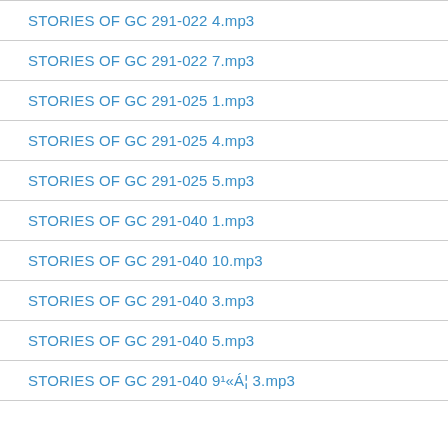STORIES OF GC 291-022 4.mp3
STORIES OF GC 291-022 7.mp3
STORIES OF GC 291-025 1.mp3
STORIES OF GC 291-025 4.mp3
STORIES OF GC 291-025 5.mp3
STORIES OF GC 291-040 1.mp3
STORIES OF GC 291-040 10.mp3
STORIES OF GC 291-040 3.mp3
STORIES OF GC 291-040 5.mp3
STORIES OF GC 291-040 9¹«Á¦ 3.mp3